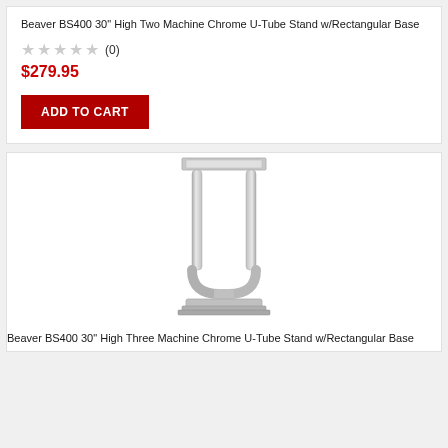Beaver BS400 30" High Two Machine Chrome U-Tube Stand w/Rectangular Base
★★★★★ (0)
$279.95
ADD TO CART
[Figure (photo): Chrome U-Tube stand with rectangular base, two-tube design, shown from front angle]
Beaver BS400 30" High Three Machine Chrome U-Tube Stand w/Rectangular Base